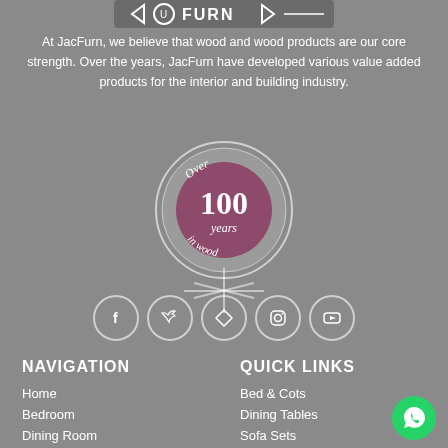[Figure (logo): JacFurn logo banner at the top of the page]
At JacFurn, we believe that wood and wood products are our core strength. Over the years, JacFurn have developed various value added products for the interior and building industry.
[Figure (illustration): Circular badge reading 'Over 100 years in wood' with mauve/pink center circle, with a decorative snowflake/star graphic underneath]
[Figure (illustration): Row of 5 social media icons in circles: Facebook, Twitter, Pinterest/Share, Instagram, YouTube]
NAVIGATION
Home
Bedroom
Dining Room
QUICK LINKS
Bed & Cots
Dining Tables
Sofa Sets